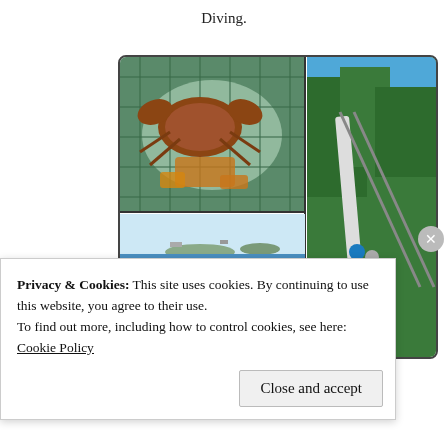Diving.
[Figure (photo): A collage of three photos: top-left shows crabs in a fishing net, top-right shows people launching a boat on a ramp surrounded by green trees under blue sky, bottom-left shows people in the ocean near rocky coastline with boats in the distance.]
Privacy & Cookies: This site uses cookies. By continuing to use this website, you agree to their use.
To find out more, including how to control cookies, see here:
Cookie Policy
Close and accept